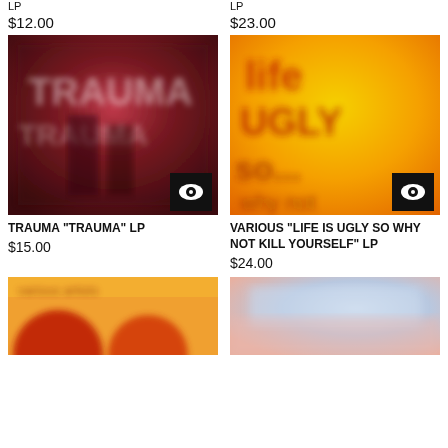LP
$12.00
LP
$23.00
[Figure (photo): Blurry dark red album cover with white text/graffiti style lettering, Trauma album]
[Figure (photo): Bright yellow/orange album cover with red and orange text, Life Is Ugly So Why Not Kill Yourself compilation]
TRAUMA "TRAUMA" LP
$15.00
VARIOUS "LIFE IS UGLY SO WHY NOT KILL YOURSELF" LP
$24.00
[Figure (photo): Orange and red album cover, partially visible at bottom of page]
[Figure (photo): Light blue and pinkish album cover, partially visible at bottom of page]